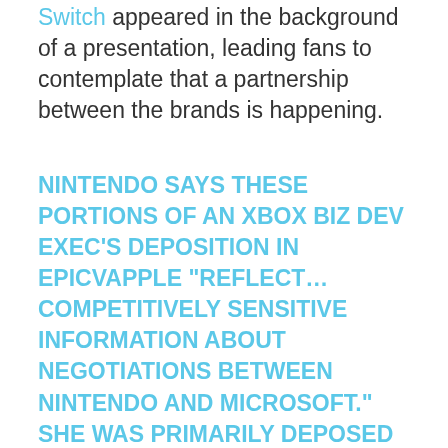Switch appeared in the background of a presentation, leading fans to contemplate that a partnership between the brands is happening.
NINTENDO SAYS THESE PORTIONS OF AN XBOX BIZ DEV EXEC'S DEPOSITION IN EPICVAPPLE "REFLECT… COMPETITIVELY SENSITIVE INFORMATION ABOUT NEGOTIATIONS BETWEEN NINTENDO AND MICROSOFT." SHE WAS PRIMARILY DEPOSED ABOUT TRYING TO BRING XCLOUD TO IOS AND MORE BROADLY DISCUSSED CONSOLE BIZ…